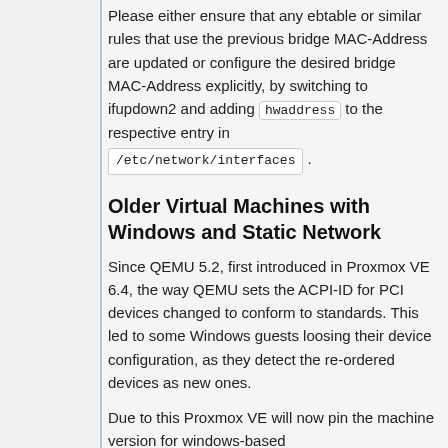Please either ensure that any ebtable or similar rules that use the previous bridge MAC-Address are updated or configure the desired bridge MAC-Address explicitly, by switching to ifupdown2 and adding hwaddress to the respective entry in /etc/network/interfaces .
Older Virtual Machines with Windows and Static Network
Since QEMU 5.2, first introduced in Proxmox VE 6.4, the way QEMU sets the ACPI-ID for PCI devices changed to conform to standards. This led to some Windows guests loosing their device configuration, as they detect the re-ordered devices as new ones.
Due to this Proxmox VE will now pin the machine version for windows-based